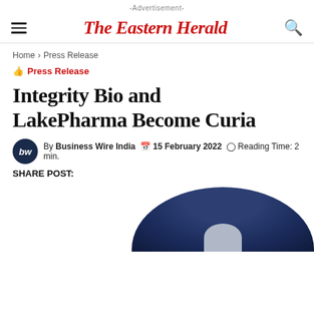-Advertisement-
The Eastern Herald
Home > Press Release
Press Release
Integrity Bio and LakePharma Become Curia
By Business Wire India  15 February 2022  Reading Time: 2 min.
SHARE POST:
[Figure (photo): Dark navy blue circular/dome shaped image, partially visible at bottom of page, with a lighter figure shape at bottom center]